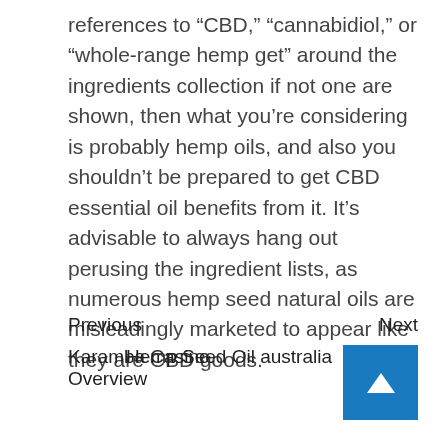references to “CBD,” “cannabidinol,” or “whole-range hemp get” around the ingredients collection if not one are shown, then what you’re considering is probably hemp oils, and also you shouldn’t be prepared to get CBD essential oil benefits from it. It’s advisable to always hang out perusing the ingredient lists, as numerous hemp seed natural oils are misleadingly marketed to appear like they are CBD goods.
Previous
Next
Karamba Casino Overview
Hemp Seed Oil australia